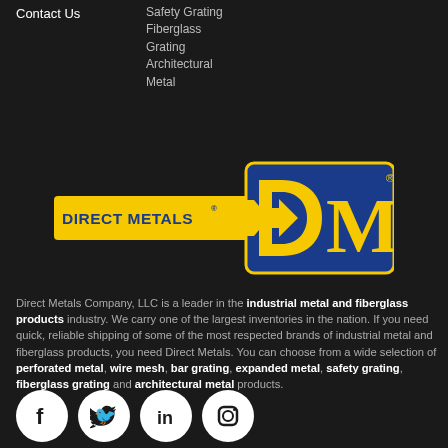Contact Us
Safety Grating
Fiberglass
Grating
Architectural
Metal
[Figure (logo): Direct Metals logo with yellow banner reading DIRECT METALS and blue DM letters with arrow]
Direct Metals Company, LLC is a leader in the industrial metal and fiberglass products industry. We carry one of the largest inventories in the nation. If you need quick, reliable shipping of some of the most respected brands of industrial metal and fiberglass products, you need Direct Metals. You can choose from a wide selection of perforated metal, wire mesh, bar grating, expanded metal, safety grating, fiberglass grating and architectural metal products.
[Figure (other): Social media icons: Facebook, Twitter, LinkedIn, Instagram]